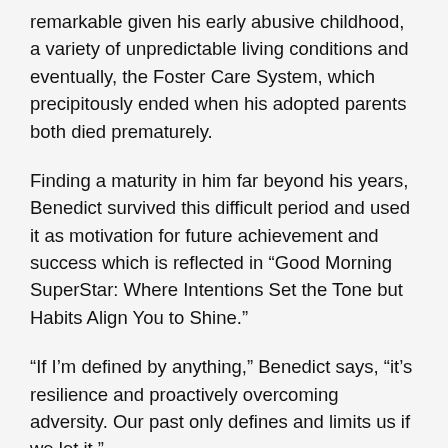remarkable given his early abusive childhood, a variety of unpredictable living conditions and eventually, the Foster Care System, which precipitously ended when his adopted parents both died prematurely.
Finding a maturity in him far beyond his years, Benedict survived this difficult period and used it as motivation for future achievement and success which is reflected in “Good Morning SuperStar: Where Intentions Set the Tone but Habits Align You to Shine.”
“If I’m defined by anything,” Benedict says, “it’s resilience and proactively overcoming adversity. Our past only defines and limits us if we let it.”
Benedict is now a champion for Foster Care and Adoption. Next year he launches his new National